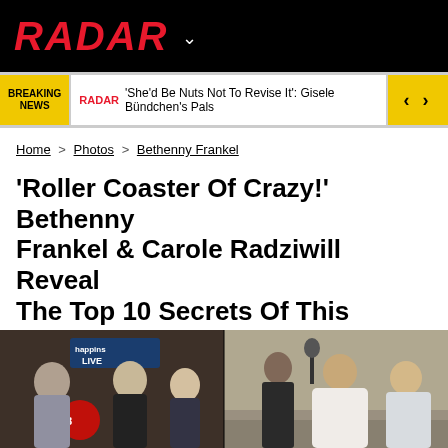RADAR
BREAKING NEWS | RADAR 'She'd Be Nuts Not To Revise It': Gisele Bündchen's Pals
Home > Photos > Bethenny Frankel
'Roller Coaster Of Crazy!' Bethenny Frankel & Carole Radziwill Reveal The Top 10 Secrets Of This Season's 'RHONY' — What To Expect
[Figure (photo): Two side-by-side photos: left shows people on a TV set with 'happins LIVE' signage; right shows people on outdoor steps, including a woman in a white jacket.]